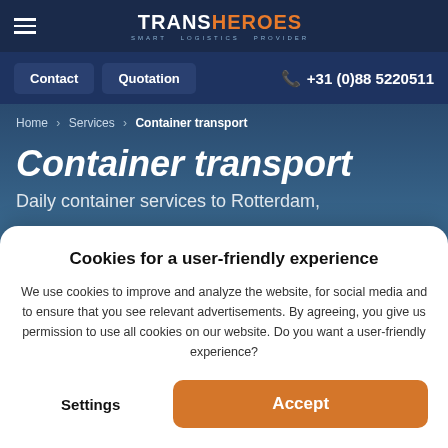TRANSHEROES — SMART LOGISTICS PROVIDER
Contact | Quotation | +31 (0)88 5220511
Home > Services > Container transport
Container transport
Daily container services to Rotterdam,
Cookies for a user-friendly experience
We use cookies to improve and analyze the website, for social media and to ensure that you see relevant advertisements. By agreeing, you give us permission to use all cookies on our website. Do you want a user-friendly experience?
Settings | Accept